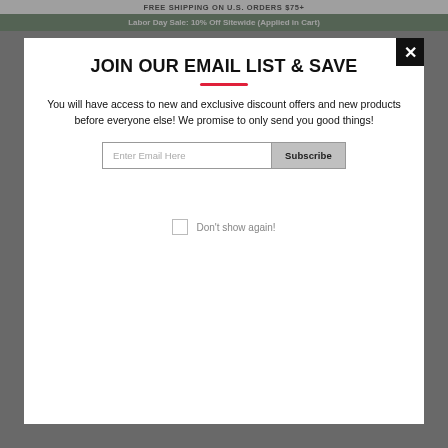FREE SHIPPING ON U.S. ORDERS $75+
Labor Day Sale: 10% Off Sitewide (Applied in Cart)
JOIN OUR EMAIL LIST & SAVE
You will have access to new and exclusive discount offers and new products before everyone else! We promise to only send you good things!
Enter Email Here
Subscribe
Don't show again!